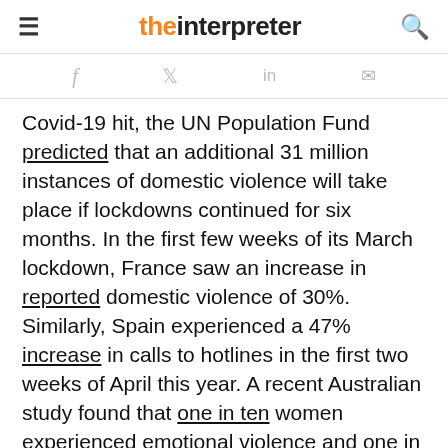the interpreter
Covid-19 hit, the UN Population Fund predicted that an additional 31 million instances of domestic violence will take place if lockdowns continued for six months. In the first few weeks of its March lockdown, France saw an increase in reported domestic violence of 30%. Similarly, Spain experienced a 47% increase in calls to hotlines in the first two weeks of April this year. A recent Australian study found that one in ten women experienced emotional violence and one in 20 experienced physical violence during the shutdown. Most of these women had never experienced violence before